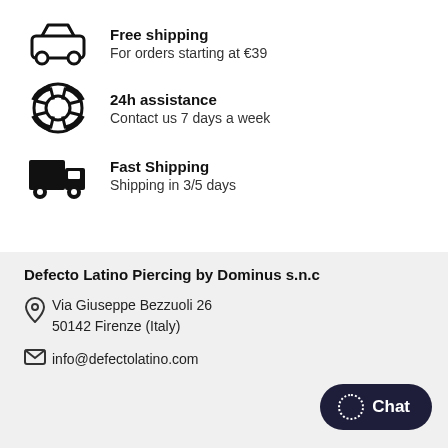Free shipping
For orders starting at €39
24h assistance
Contact us 7 days a week
Fast Shipping
Shipping in 3/5 days
Defecto Latino Piercing by Dominus s.n.c
Via Giuseppe Bezzuoli 26
50142 Firenze (Italy)
info@defectolatino.com